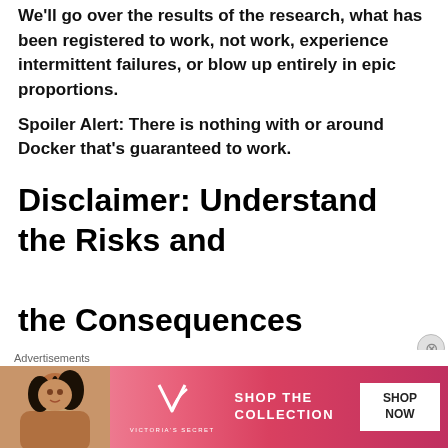We'll go over the results of the research, what has been registered to work, not work, experience intermittent failures, or blow up entirely in epic proportions.
Spoiler Alert: There is nothing with or around Docker that's guaranteed to work.
Disclaimer: Understand the Risks and the Consequences
I am biased toward my own standards (as a professional who has to handle real money) and
[Figure (other): Victoria's Secret advertisement banner with model photo, VS logo, 'SHOP THE COLLECTION' text, and 'SHOP NOW' button on pink/red background]
Advertisements